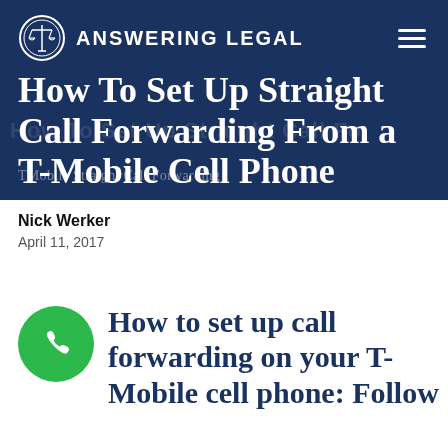ANSWERING LEGAL
How To Set Up Straight Call Forwarding From a T-Mobile Cell Phone
TMobile Straight Call Forwarding
Nick Werker
April 11, 2017
How to set up call forwarding on your T-Mobile cell phone: Follow